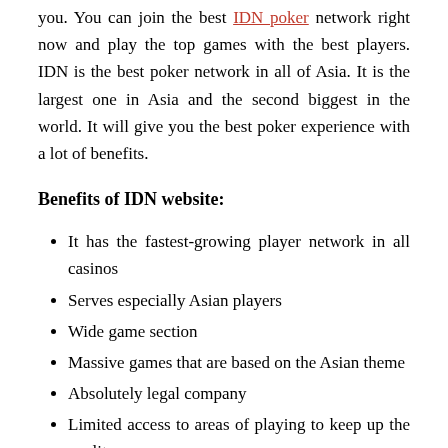you. You can join the best IDN poker network right now and play the top games with the best players. IDN is the best poker network in all of Asia. It is the largest one in Asia and the second biggest in the world. It will give you the best poker experience with a lot of benefits.
Benefits of IDN website:
It has the fastest-growing player network in all casinos
Serves especially Asian players
Wide game section
Massive games that are based on the Asian theme
Absolutely legal company
Limited access to areas of playing to keep up the quality
It provides its best performance because of that.